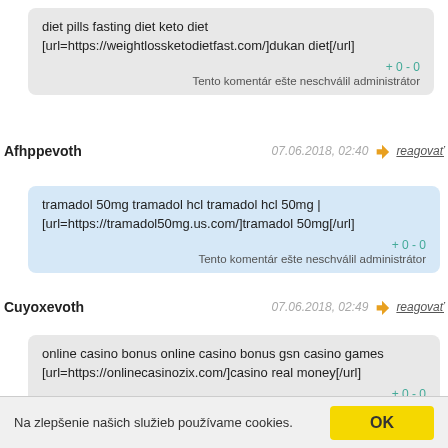diet pills fasting diet keto diet [url=https://weightlossketodietfast.com/]dukan diet[/url]
+0 - 0
Tento komentár ešte neschválil administrátor
Afhppevoth
07.06.2018, 02:40
reagovať
tramadol 50mg tramadol hcl tramadol hcl 50mg | [url=https://tramadol50mg.us.com/]tramadol 50mg[/url]
+0 - 0
Tento komentár ešte neschválil administrátor
Cuyoxevoth
07.06.2018, 02:49
reagovať
online casino bonus online casino bonus gsn casino games [url=https://onlinecasinozix.com/]casino real money[/url]
+0 - 0
Tento komentár ešte neschválil administrátor
Na zlepšenie našich služieb používame cookies.
OK